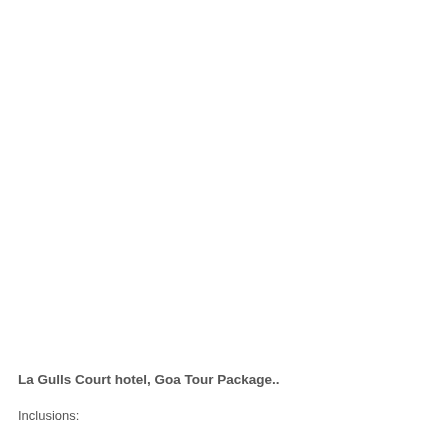La Gulls Court hotel, Goa Tour Package..
Inclusions: